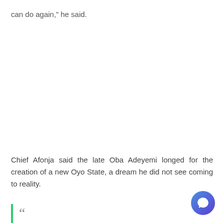can do again,” he said.
Chief Afonja said the late Oba Adeyemi longed for the creation of a new Oyo State, a dream he did not see coming to reality.